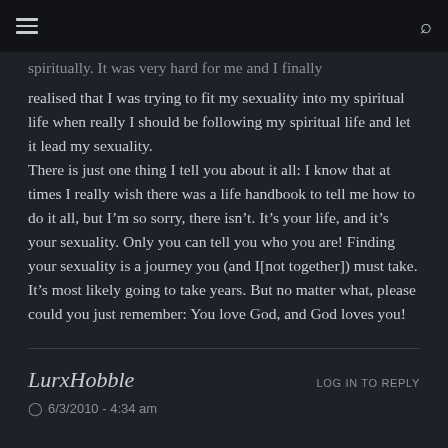spiritually. It was very hard for me and I finally realised that I was trying to fit my sexuality into my spiritual life when really I should be following my spiritual life and let it lead my sexuality. There is just one thing I tell you about it all: I know that at times I really wish there was a life handbook to tell me how to do it all, but I’m so sorry, there isn’t. It’s your life, and it’s your sexuality. Only you can tell you who you are! Finding your sexuality is a journey you (and I[not together]) must take. It’s most likely going to take years. But no matter what, please could you just remember: You love God, and God loves you!
LurxHobble
LOG IN TO REPLY
6/3/2010 - 4:34 am